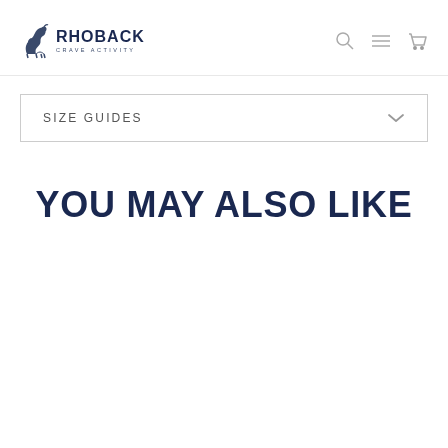RHOBACK CRAVE ACTIVITY
SIZE GUIDES
YOU MAY ALSO LIKE